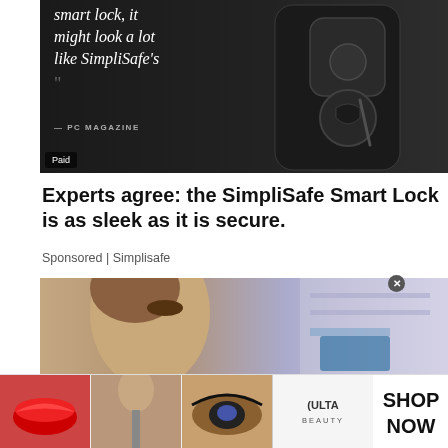[Figure (photo): Dark background advertisement image for SimpliSafe smart lock. White text quote on left side reads: smart lock, it might look a lot like SimpliSafe's with closing quotation marks and attribution — PC MAGAZINE. A black smart lock device is shown on the right. 'Paid' badge at bottom left.]
Experts agree: the SimpliSafe Smart Lock is as sleek as it is secure.
Sponsored | Simplisafe
[Figure (photo): Close-up photo of a woman's face in profile with makeup, partial view, blurred background with cosmetics store shelving.]
[Figure (photo): Ulta Beauty advertisement strip showing four beauty product/makeup images: lips with red lipstick, makeup brush, eye with mascara, Ulta Beauty logo on white background, eye with smoky makeup, and SHOP NOW text on white.]